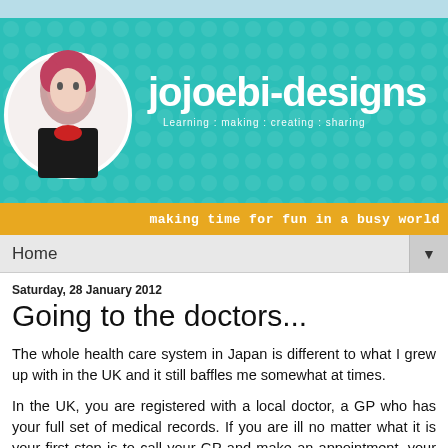[Figure (screenshot): Website header banner with teal/turquoise background, circular avatar photo of woman with red/pink hair, site title 'jojoebi-designs' in large white bold font, subtitle 'Learning : making : creating : sharing']
making time for fun in a busy world
Home ▼
Saturday, 28 January 2012
Going to the doctors...
The whole health care system in Japan is different to what I grew up with in the UK and it still baffles me somewhat at times.
In the UK, you are registered with a local doctor, a GP who has your full set of medical records. If you are ill no matter what it is your first step is to call your GP and make an appointment, your GP will then decide whether it is